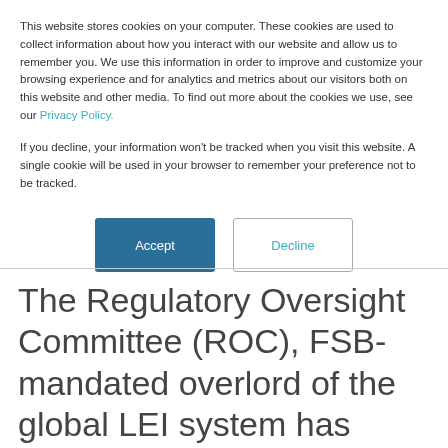This website stores cookies on your computer. These cookies are used to collect information about how you interact with our website and allow us to remember you. We use this information in order to improve and customize your browsing experience and for analytics and metrics about our visitors both on this website and other media. To find out more about the cookies we use, see our Privacy Policy.
If you decline, your information won't be tracked when you visit this website. A single cookie will be used in your browser to remember your preference not to be tracked.
Accept | Decline
The Regulatory Oversight Committee (ROC), FSB-mandated overlord of the global LEI system has published a document